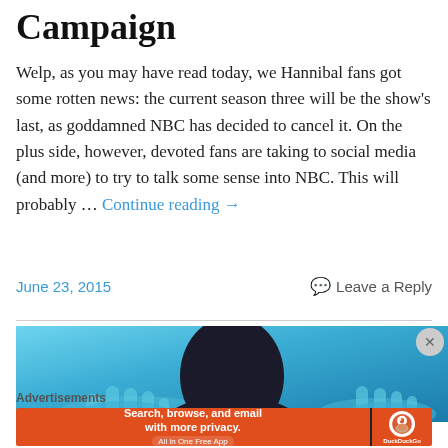Campaign
Welp, as you may have read today, we Hannibal fans got some rotten news: the current season three will be the show's last, as goddamned NBC has decided to cancel it. On the plus side, however, devoted fans are taking to social media (and more) to try to talk some sense into NBC. This will probably … Continue reading →
June 23, 2015    Leave a Reply
[Figure (photo): Blue-tinted image showing a dark silhouette of a person's head with hands pressed against a surface, high contrast blue tones]
Advertisements
[Figure (screenshot): DuckDuckGo advertisement banner: orange background with text 'Search, browse, and email with more privacy. All in One Free App' and DuckDuckGo logo on dark right panel]